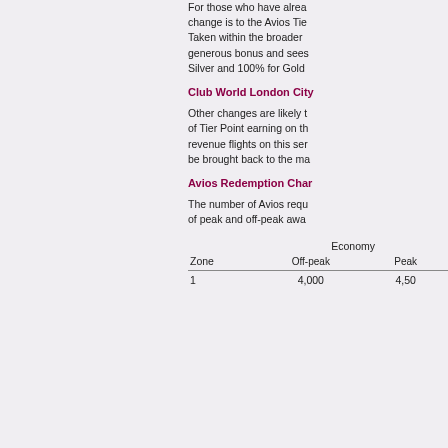For those who have already... change is to the Avios Tier... Taken within the broader... generous bonus and sees... Silver and 100% for Gold...
Club World London City
Other changes are likely to... of Tier Point earning on th... revenue flights on this ser... be brought back to the ma...
Avios Redemption Char...
The number of Avios requ... of peak and off-peak awa...
| Zone | Economy Off-peak | Economy Peak |
| --- | --- | --- |
| 1 | 4,000 | 4,500 |